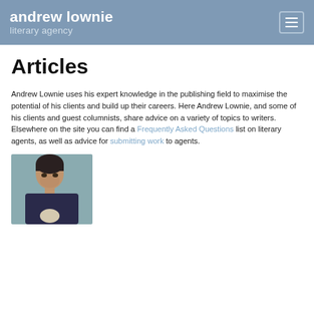andrew lownie literary agency
Articles
Andrew Lownie uses his expert knowledge in the publishing field to maximise the potential of his clients and build up their careers. Here Andrew Lownie, and some of his clients and guest columnists, share advice on a variety of topics to writers. Elsewhere on the site you can find a Frequently Asked Questions list on literary agents, as well as advice for submitting work to agents.
[Figure (photo): Photo of a man with dark hair holding a skull, against a light teal background]